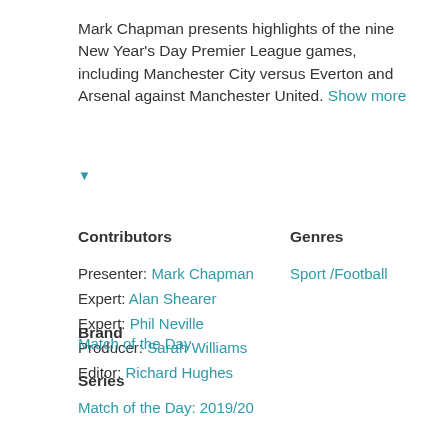Mark Chapman presents highlights of the nine New Year's Day Premier League games, including Manchester City versus Everton and Arsenal against Manchester United. Show more ▼
Contributors
Genres
Presenter: Mark Chapman
Expert: Alan Shearer
Expert: Phil Neville
Producer: Sarah Williams
Editor: Richard Hughes
Sport /Football
Brand
Match of the Day
Series
Match of the Day: 2019/20